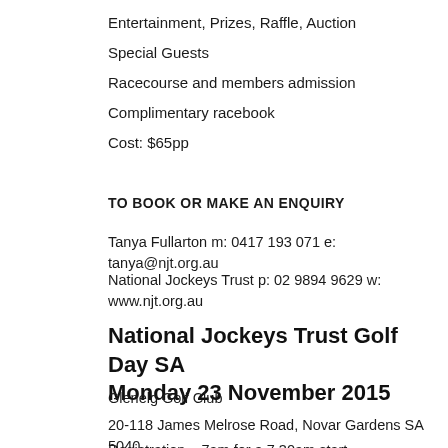Entertainment, Prizes, Raffle, Auction
Special Guests
Racecourse and members admission
Complimentary racebook
Cost: $65pp
TO BOOK OR MAKE AN ENQUIRY
Tanya Fullarton m: 0417 193 071 e: tanya@njt.org.au
National Jockeys Trust p: 02 9894 9629 w: www.njt.org.au
National Jockeys Trust Golf Day SA Monday 23 November 2015
Glenelg Golf Club
20-118 James Melrose Road, Novar Gardens SA 5040
Registration – 7am for a 7.30am start